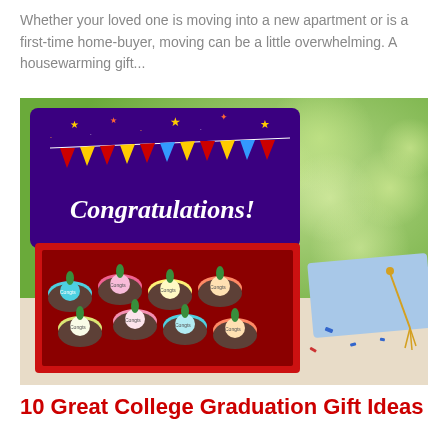Whether your loved one is moving into a new apartment or is a first-time home-buyer, moving can be a little overwhelming. A housewarming gift...
[Figure (photo): A box of chocolate-dipped strawberries decorated with colorful sprinkles and 'Congrats' medallions, inside a purple congratulations gift box with stars and bunting. A light blue graduation cap and gold tassel are visible in the background on a table with confetti.]
10 Great College Graduation Gift Ideas